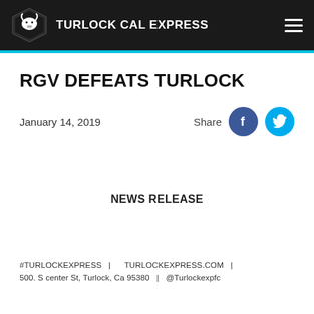TURLOCK CAL EXPRESS
RGV DEFEATS TURLOCK
January 14, 2019
NEWS RELEASE
#TURLOCKEXPRESS   |       TURLOCKEXPRESS.COM   |   500. S center St, Turlock, Ca 95380   |   @Turlockexpfc